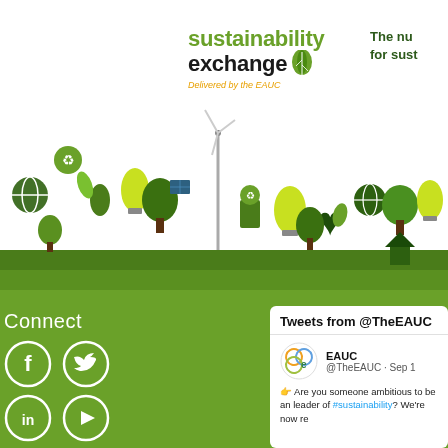[Figure (illustration): Sustainability Exchange banner with green ecology icon cityscape background, featuring trees, wind turbines, recycling symbols, light bulbs, solar panels, leaves and other environmental icons in dark and light green colors]
sustainability exchange
Delivered by the EAUC
The nu for sust
Connect
[Figure (infographic): Social media icons: Facebook (f), Twitter (bird), LinkedIn (in), YouTube (play button) — white circles on green background]
Tweets from @TheEAUC
[Figure (logo): EAUC logo - circular logo with overlapping colored diamonds/circles]
EAUC
@TheEAUC · Sep 1
Are you someone ambitious to be an leader of #sustainability? We're now re